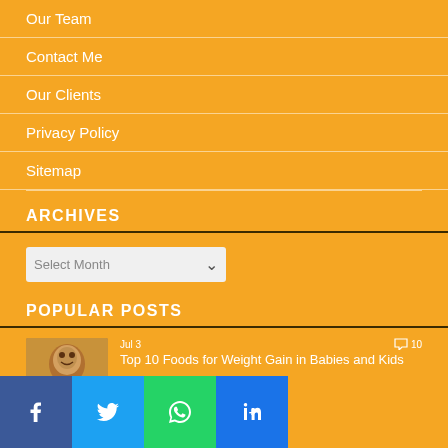Our Team
Contact Me
Our Clients
Privacy Policy
Sitemap
ARCHIVES
Select Month
POPULAR POSTS
Top 10 Foods for Weight Gain in Babies and Kids